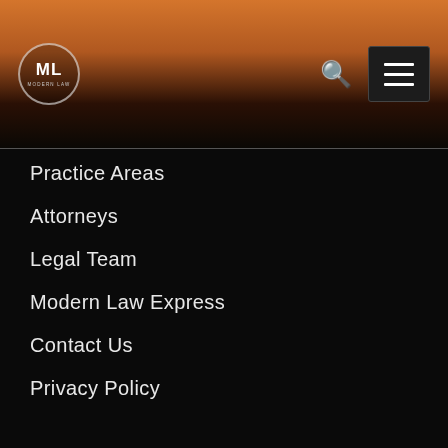ML Modern Law logo, search icon, menu icon
Practice Areas
Attorneys
Legal Team
Modern Law Express
Contact Us
Privacy Policy
Recent Posts
(480) 571-0346
info@mymodernlaw.com
Social Links
[Figure (logo): reCAPTCHA badge with Privacy and Terms links]